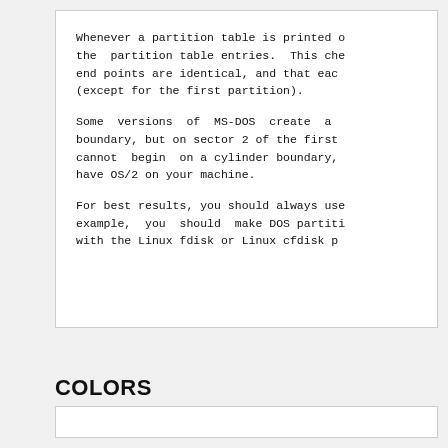Whenever a partition table is printed o the  partition table entries.  This che end points are identical, and that eac (except for the first partition).

Some  versions  of  MS-DOS  create  a boundary, but on sector 2 of the first cannot  begin  on a cylinder boundary, have OS/2 on your machine.

For best results, you should always use example,  you  should  make DOS partiti with the Linux fdisk or Linux cfdisk p
COLORS